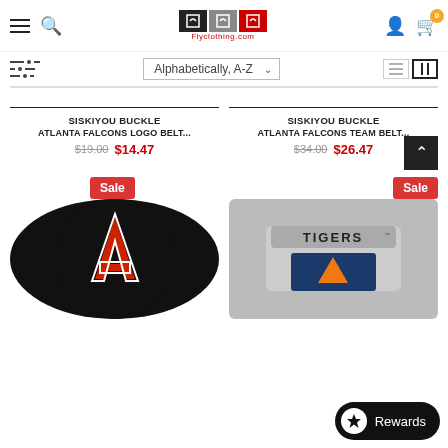Flyclothing.com navigation header with hamburger menu, search, logo, user icon, cart (0)
Alphabetically, A-Z
SISKIYOU BUCKLE
ATLANTA FALCONS LOGO BELT...
$19.00  $14.47
SISKIYOU BUCKLE
ATLANTA FALCONS TEAM BELT...
$34.00  $26.47
[Figure (photo): Auburn Tigers logo belt buckle - circular black background with red letters]
[Figure (photo): Auburn Tigers team belt buckle - silver metal with TIGERS text and orange A logo]
Sale
Sale
Rewards